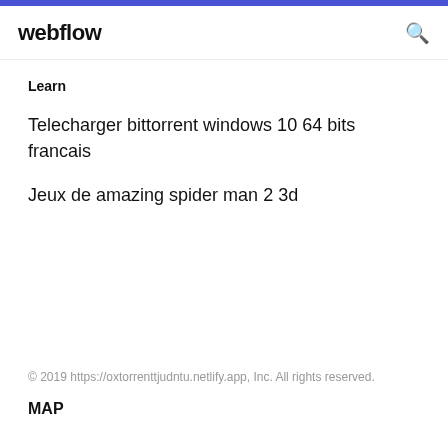webflow
Learn
Telecharger bittorrent windows 10 64 bits francais
Jeux de amazing spider man 2 3d
© 2019 https://oxtorrenttjudntu.netlify.app, Inc. All rights reserved.
MAP